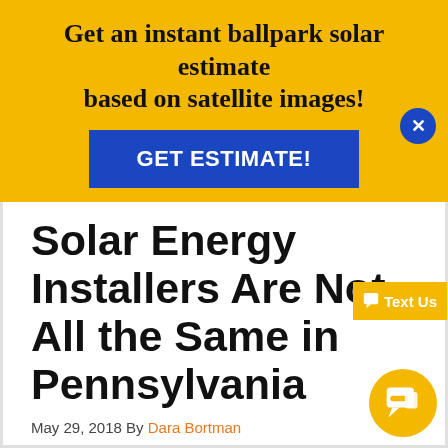Get an instant ballpark solar estimate based on satellite images!
GET ESTIMATE!
Solar Energy Installers Are Not All the Same in Pennsylvania
May 29, 2018 By Dara Bortman
Yardley Voice/Newtown Gazette — The home improvement season is back again. Some conscientious homeowners will try to do more than repair things. They are ready to take advantage of the economic and environmental benefits and the great energy savings that